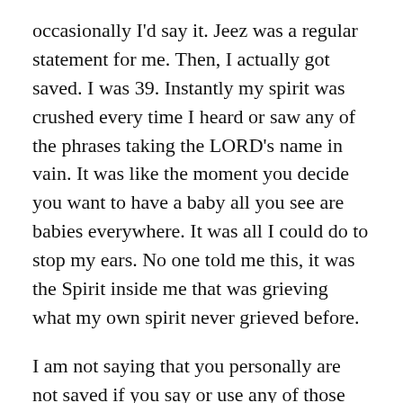occasionally I'd say it. Jeez was a regular statement for me. Then, I actually got saved. I was 39. Instantly my spirit was crushed every time I heard or saw any of the phrases taking the LORD's name in vain. It was like the moment you decide you want to have a baby all you see are babies everywhere. It was all I could do to stop my ears. No one told me this, it was the Spirit inside me that was grieving what my own spirit never grieved before.
I am not saying that you personally are not saved if you say or use any of those statements, however I kind of am. Check yourself. While I am not God and I clearly do not have it all worked out I do know the God's law is written on my heart and without any warning or theological training, this specific thing was so palpable written on my heart when I got saved and still is that I cannot help but think it should at least be viewed as a red flag and worth digging